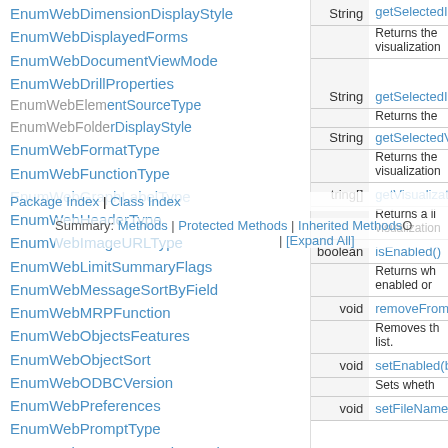EnumWebDimensionDisplayStyle
EnumWebDisplayedForms
EnumWebDocumentViewMode
EnumWebDrillProperties
EnumWebElementSourceType
EnumWebFolderDisplayStyle
EnumWebFormatType
EnumWebFunctionType
EnumWebGraphLabelType
EnumWebHeaderType
EnumWebImageURLType
EnumWebLimitSummaryFlags
EnumWebMessageSortByField
EnumWebMRPFunction
EnumWebObjectsFeatures
EnumWebObjectSort
EnumWebODBCVersion
EnumWebPreferences
EnumWebPromptType
EnumWebReportExecutionModes
EnumWebReportExportModes
EnumWebReportSourceType
Package Index | Class Index
Summary: Methods | Protected Methods | Inherited Methods | [Expand All]
| Type | Method/Description |
| --- | --- |
| String | getSelectedIP
Returns the visualization |
| String | getSelectedIP
Returns the |
| String | getSelectedV
Returns the visualization |
| tring[] | getVisualizati
Returns a li visualization |
| boolean | isEnabled()
Returns wh enabled or |
| void | removeFrom
Removes th list. |
| void | setEnabled(b
Sets wheth |
| void | setFileName
 |